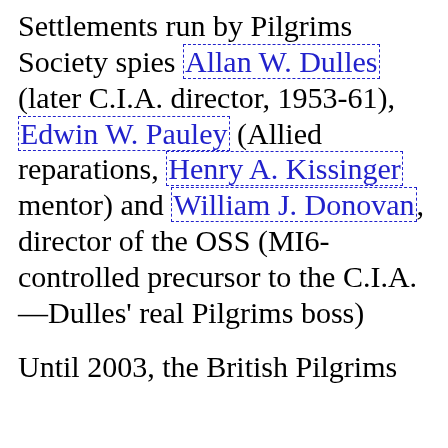Settlements run by Pilgrims Society spies Allan W. Dulles (later C.I.A. director, 1953-61), Edwin W. Pauley (Allied reparations, Henry A. Kissinger mentor) and William J. Donovan, director of the OSS (MI6-controlled precursor to the C.I.A.—Dulles' real Pilgrims boss)
Until 2003, the British Pilgrims